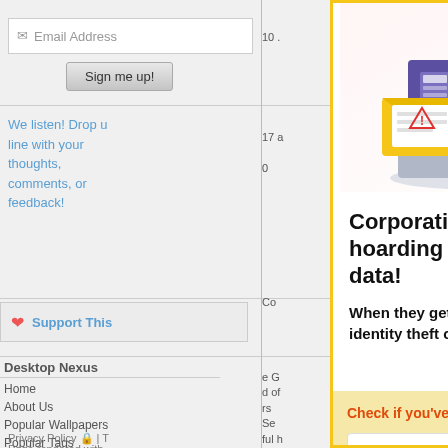[Figure (screenshot): Website background showing email signup, 'We listen!' text, Support This button, Desktop Nexus navigation links, and right sidebar with partial text]
[Figure (illustration): Illustration of a hacker stealing data from a laptop with email/warning symbols, shown at top of popup overlay]
Corporations are recklessly hoarding your sensitive data!
When they get hacked, you're at risk of identity theft or worse!
Check if you've been compromised:
Email Address
FREE SCAN